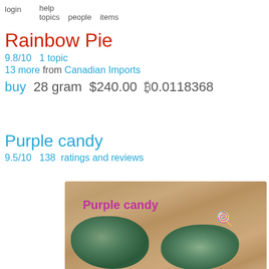login   help   topics   people   items
Rainbow Pie
9.8/10   1 topic
13 more from Canadian Imports
buy  28 gram  $240.00  ₿0.0118368
Purple candy
9.5/10   138  ratings and reviews
[Figure (photo): Photo of two cannabis buds on a wooden surface with text 'Purple candy' and a lollipop emoji overlay]